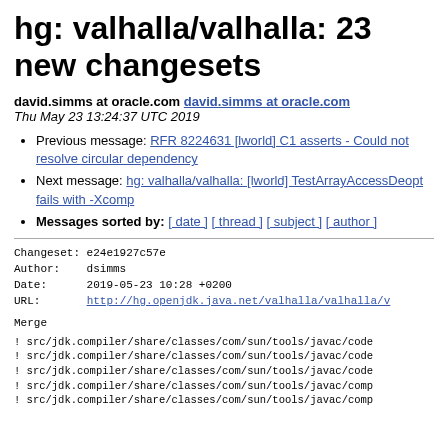hg: valhalla/valhalla: 23 new changesets
david.simms at oracle.com david.simms at oracle.com
Thu May 23 13:24:37 UTC 2019
Previous message: RFR 8224631 [lworld] C1 asserts - Could not resolve circular dependency
Next message: hg: valhalla/valhalla: [lworld] TestArrayAccessDeopt fails with -Xcomp
Messages sorted by: [ date ] [ thread ] [ subject ] [ author ]
Changeset: e24e1927c57e
Author:    dsimms
Date:      2019-05-23 10:28 +0200
URL:       http://hg.openjdk.java.net/valhalla/valhalla/v
Merge
! src/jdk.compiler/share/classes/com/sun/tools/javac/code
! src/jdk.compiler/share/classes/com/sun/tools/javac/code
! src/jdk.compiler/share/classes/com/sun/tools/javac/code
! src/jdk.compiler/share/classes/com/sun/tools/javac/comp
! src/jdk.compiler/share/classes/com/sun/tools/javac/comp